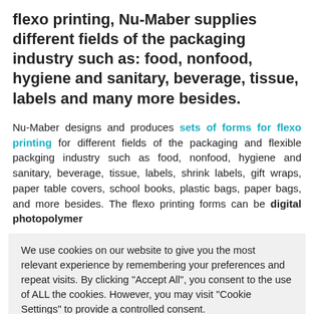flexo printing, Nu-Maber supplies different fields of the packaging industry such as: food, nonfood, hygiene and sanitary, beverage, tissue, labels and many more besides.
Nu-Maber designs and produces sets of forms for flexo printing for different fields of the packaging and flexible packging industry such as food, nonfood, hygiene and sanitary, beverage, tissue, labels, shrink labels, gift wraps, paper table covers, school books, plastic bags, paper bags, and more besides. The flexo printing forms can be digital photopolymer
We use cookies on our website to give you the most relevant experience by remembering your preferences and repeat visits. By clicking "Accept All", you consent to the use of ALL the cookies. However, you may visit "Cookie Settings" to provide a controlled consent.